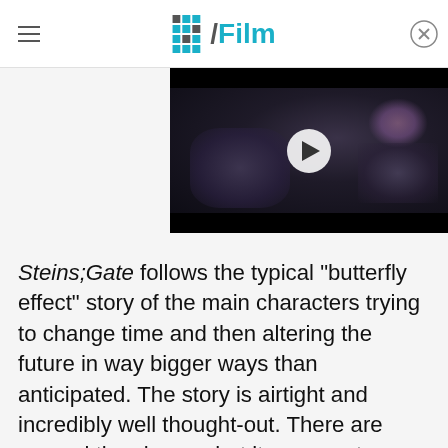/Film
[Figure (screenshot): Video player thumbnail showing a dark creature/monster scene with a play button overlay, black bars at top and bottom]
Steins;Gate follows the typical "butterfly effect" story of the main characters trying to change time and then altering the future in way bigger ways than anticipated. The story is airtight and incredibly well thought-out. There are several time jumps, but it never gets confusing, just complex. Even if the art is fairly standard compared to others on this list, the writing and the voice performances are enough to make this show stand above nearly all of the rest.